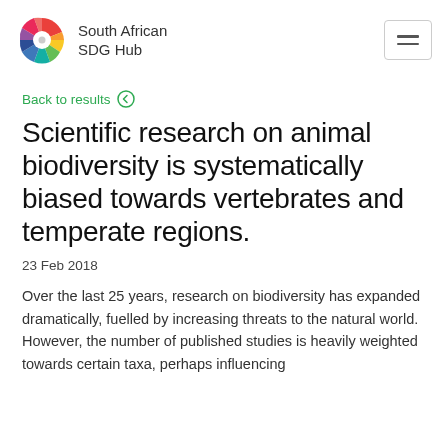[Figure (logo): South African SDG Hub logo with colorful fan/wheel icon and text 'South African SDG Hub']
Back to results
Scientific research on animal biodiversity is systematically biased towards vertebrates and temperate regions.
23 Feb 2018
Over the last 25 years, research on biodiversity has expanded dramatically, fuelled by increasing threats to the natural world. However, the number of published studies is heavily weighted towards certain taxa, perhaps influencing